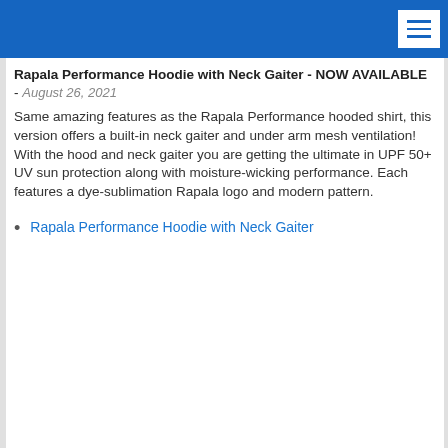Rapala Performance Hoodie with Neck Gaiter - NOW AVAILABLE - August 26, 2021
Same amazing features as the Rapala Performance hooded shirt, this version offers a built-in neck gaiter and under arm mesh ventilation! With the hood and neck gaiter you are getting the ultimate in UPF 50+ UV sun protection along with moisture-wicking performance. Each features a dye-sublimation Rapala logo and modern pattern.
Rapala Performance Hoodie with Neck Gaiter